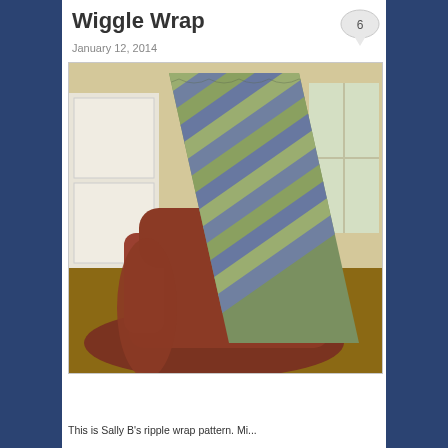Wiggle Wrap
January 12, 2014
[Figure (photo): A blue and green chevron/ripple knitted or crocheted blanket draped over a brown leather armchair in a living room setting.]
This is Sally B's ripple wrap pattern. Mi...